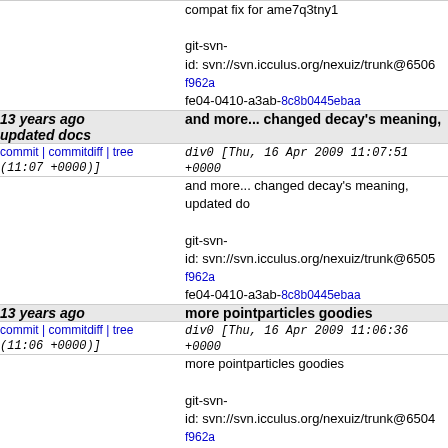compat fix for ame7q3tny1

git-svn-id: svn://svn.icculus.org/nexuiz/trunk@6506 f962afe04-0410-a3ab-8c8b0445ebaa
13 years ago updated docs
and more... changed decay's meaning,
commit | commitdiff | tree (11:07 +0000)]
div0 [Thu, 16 Apr 2009 11:07:51 +0000
and more... changed decay's meaning, updated do

git-svn-id: svn://svn.icculus.org/nexuiz/trunk@6505 f962afe04-0410-a3ab-8c8b0445ebaa
13 years ago
more pointparticles goodies
commit | commitdiff | tree (11:06 +0000)]
div0 [Thu, 16 Apr 2009 11:06:36 +0000
more pointparticles goodies

git-svn-id: svn://svn.icculus.org/nexuiz/trunk@6504 f962afe04-0410-a3ab-8c8b0445ebaa